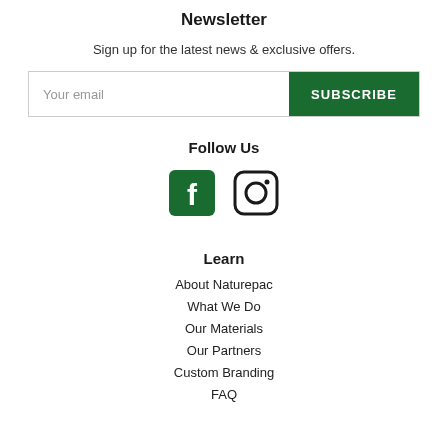Newsletter
Sign up for the latest news & exclusive offers.
[Figure (other): Email subscription input field with 'Your email' placeholder and green 'SUBSCRIBE' button]
Follow Us
[Figure (other): Social media icons: Facebook (green square with F) and Instagram (outlined camera icon)]
Learn
About Naturepac
What We Do
Our Materials
Our Partners
Custom Branding
FAQ